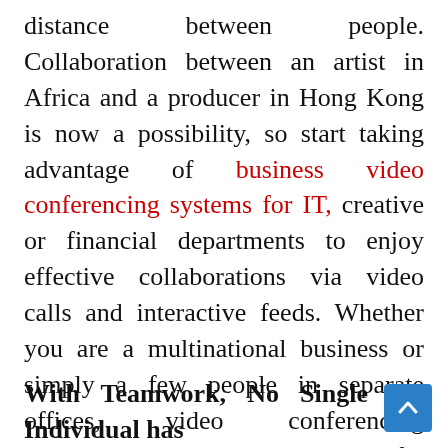distance between people. Collaboration between an artist in Africa and a producer in Hong Kong is now a possibility, so start taking advantage of business video conferencing systems for IT, creative or financial departments to enjoy effective collaborations via video calls and interactive feeds. Whether you are a multinational business or simply a few people in separate offices, video conferencing technologies allow you to enjoy far more effective and personal collaboration, while having all the necessary tools right front of you.
With Teamwork, No Single Individual has